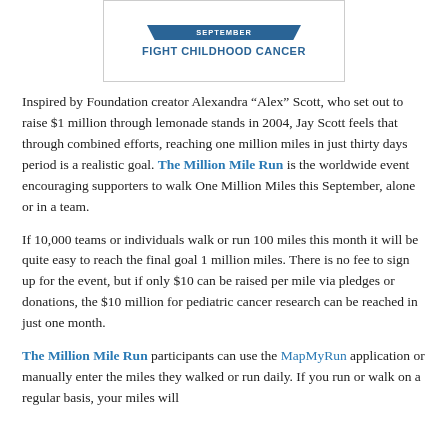[Figure (illustration): Banner with ribbon saying 'SEPTEMBER' and bold blue text 'FIGHT CHILDHOOD CANCER' inside a bordered box]
Inspired by Foundation creator Alexandra “Alex” Scott, who set out to raise $1 million through lemonade stands in 2004, Jay Scott feels that through combined efforts, reaching one million miles in just thirty days period is a realistic goal. The Million Mile Run is the worldwide event encouraging supporters to walk One Million Miles this September, alone or in a team.
If 10,000 teams or individuals walk or run 100 miles this month it will be quite easy to reach the final goal 1 million miles. There is no fee to sign up for the event, but if only $10 can be raised per mile via pledges or donations, the $10 million for pediatric cancer research can be reached in just one month.
The Million Mile Run participants can use the MapMyRun application or manually enter the miles they walked or run daily. If you run or walk on a regular basis, your miles will...